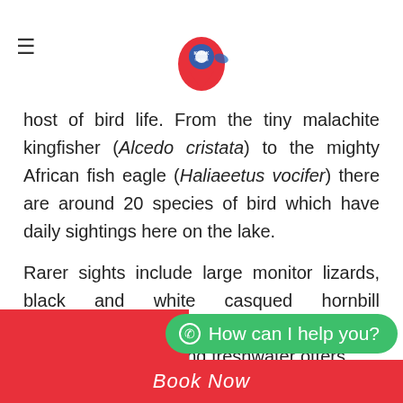Kayak the Nile logo with hamburger menu
host of bird life. From the tiny malachite kingfisher (Alcedo cristata) to the mighty African fish eagle (Haliaeetus vocifer) there are around 20 species of bird which have daily sightings here on the lake.
Rarer sights include large monitor lizards, black and white casqued hornbill (Bycanistes subcylindricus), the hamerkop (Scopus umbretta) and freshwater otters.
[Figure (other): Green WhatsApp chat button reading 'How can I help you?' with red background strip]
Book Now